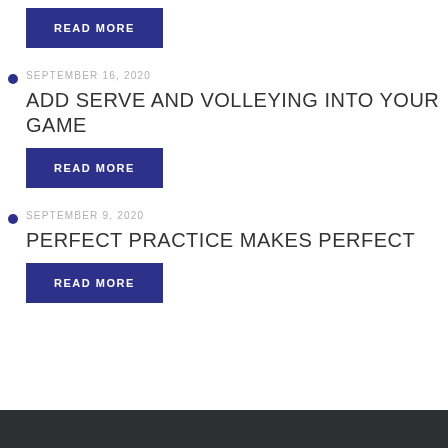READ MORE
SEPTEMBER 16, 2020 — ADD SERVE AND VOLLEYING INTO YOUR GAME — READ MORE
SEPTEMBER 9, 2020 — PERFECT PRACTICE MAKES PERFECT — READ MORE